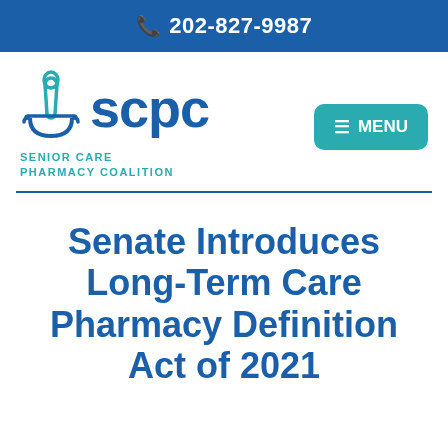📞 202-827-9987
[Figure (logo): SCPC Senior Care Pharmacy Coalition logo with mortar and pestle icon in teal and blue]
≡ MENU
Senate Introduces Long-Term Care Pharmacy Definition Act of 2021